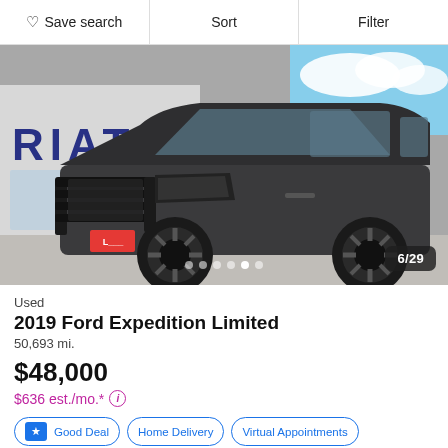Save search   Sort   Filter
[Figure (photo): Dark gray 2019 Ford Expedition Limited SUV parked in front of a dealership building with 'RIATA' sign. Vehicle has aftermarket front grille guard and large black wheels. Blue sky with clouds visible in background. Image counter shows 6/29.]
Used
2019 Ford Expedition Limited
50,693 mi.
$48,000
$636 est./mo.*
Good Deal   Home Delivery   Virtual Appointments